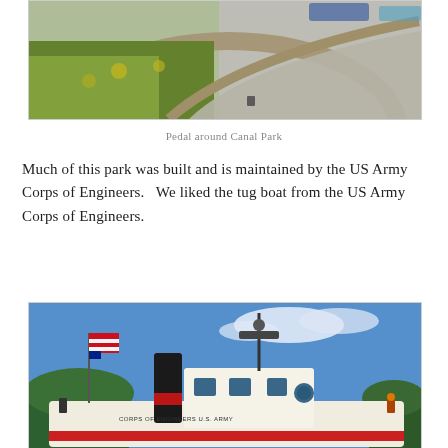[Figure (photo): Outdoor photo showing a curved concrete path with green and yellow landscaping plants along a raised planter border, with a parking area and vehicles visible in the background at Canal Park.]
Pedal around Canal Park
Much of this park was built and is maintained by the US Army Corps of Engineers.   We liked the tug boat from the US Army Corps of Engineers.
[Figure (photo): Photo of a US Army Corps of Engineers tug boat on display, showing its white and red hull, black smokestack, cabin structure, mast with equipment, and an American flag, set against a bright blue sky with light clouds and green trees in the foreground.]